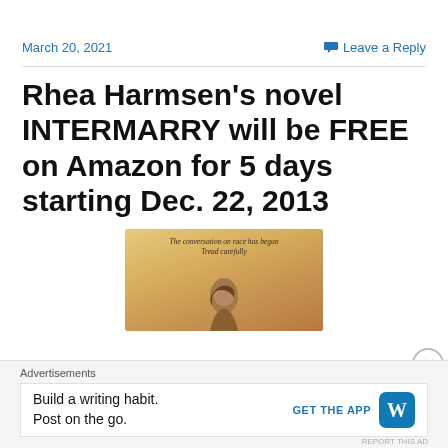March 20, 2021
Leave a Reply
Rhea Harmsen’s novel INTERMARRY will be FREE on Amazon for 5 days starting Dec. 22, 2013
[Figure (illustration): Book cover image with a warm golden-brown background, text reading 'The conversation on race has begun. Tread carefully.' and a figure of a person below.]
Advertisements
Build a writing habit.
Post on the go.
GET THE APP